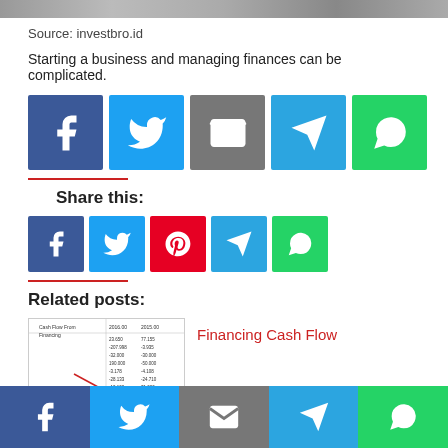[Figure (photo): Top decorative image strip (blurred/textured background)]
Source: investbro.id
Starting a business and managing finances can be complicated.
[Figure (infographic): Row of 5 social share buttons: Facebook (blue), Twitter (blue), Email (gray), Telegram (blue), WhatsApp (green) — large size]
[Figure (infographic): Share this: heading with row of 5 social buttons: Facebook (blue), Twitter (blue), Pinterest (red), Telegram (blue), WhatsApp (green) — small size]
Related posts:
[Figure (table-as-image): Thumbnail of a cash flow from financing table with two columns of numbers and a yellow highlighted row]
Financing Cash Flow
[Figure (photo): Thumbnail image for Cara Membuat Cash Flow Usaha post (golden/tan colored)]
Cara Membuat Cash Flow Usaha
Social sharing bar: Facebook | Twitter | Email | Telegram | WhatsApp